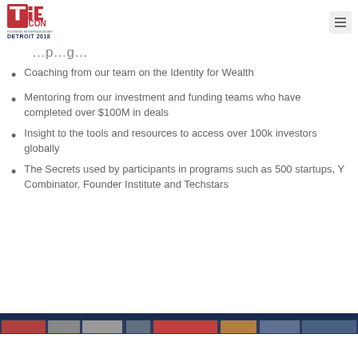TiECON DETROIT 2018
Coaching from our team on the Identity for Wealth
Mentoring from our investment and funding teams who have completed over $100M in deals
Insight to the tools and resources to access over 100k investors globally
The Secrets used by participants in programs such as 500 startups, Y Combinator, Founder Institute and Techstars
[Figure (photo): Bottom banner with dark blue background and partially visible photos/images strip]